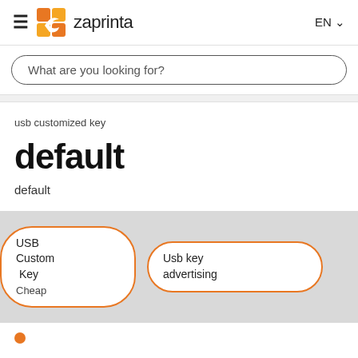Zaprinta EN
What are you looking for?
usb customized key
default
default
[Figure (screenshot): Two pill-shaped orange-outlined category buttons: 'USB Custom Key Cheap' and 'Usb key advertising' on a grey background strip]